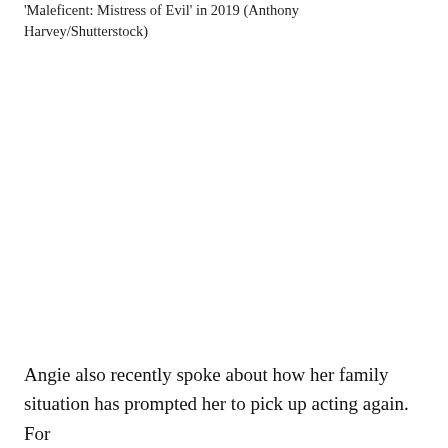'Maleficent: Mistress of Evil' in 2019 (Anthony Harvey/Shutterstock)
Angie also recently spoke about how her family situation has prompted her to pick up acting again. For